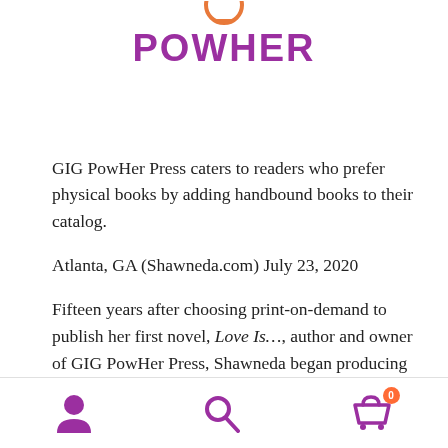[Figure (logo): GIG PowHer logo in purple bold text with an orange power/person icon above the text]
GIG PowHer Press caters to readers who prefer physical books by adding handbound books to their catalog.
Atlanta, GA (Shawneda.com) July 23, 2020
Fifteen years after choosing print-on-demand to publish her first novel, Love Is…, author and owner of GIG PowHer Press, Shawneda began producing handbound books for readers. With years of experience with both CreateSpace,
Navigation bar with user icon, search icon, and cart icon with badge 0